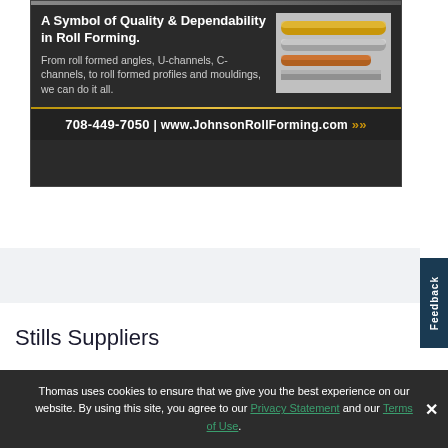[Figure (infographic): Johnson Roll Forming advertisement banner with dark background. Shows headline 'A Symbol of Quality & Dependability in Roll Forming.' with body text about products (angles, U-channels, C-channels, profiles, mouldings) and an image of metal rods/tubes. Footer shows phone number 708-449-7050 and website www.JohnsonRollForming.com with gold arrows.]
Stills Suppliers
Thomas uses cookies to ensure that we give you the best experience on our website. By using this site, you agree to our Privacy Statement and our Terms of Use.